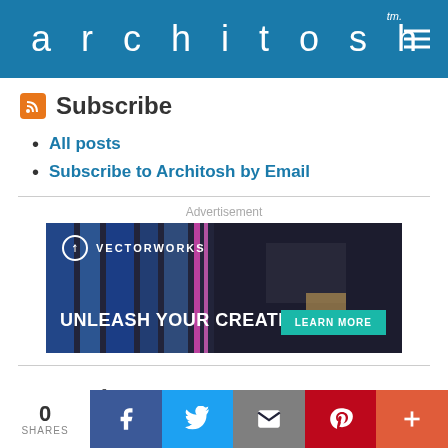architosh tm.
Subscribe
All posts
Subscribe to Architosh by Email
Advertisement
[Figure (screenshot): Vectorworks advertisement banner: dark background with blue columns, text 'UNLEASH YOUR CREATIVITY.' and 'LEARN MORE' button in teal]
Search
0 SHARES | Facebook | Twitter | Email | Pinterest | More